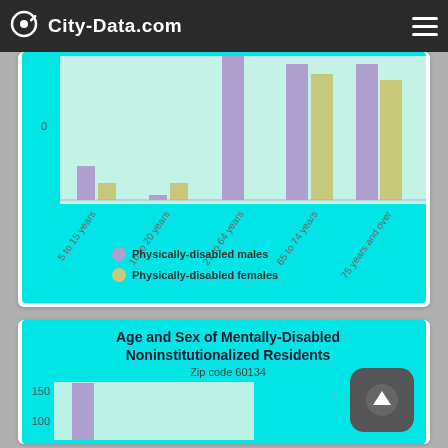City-Data.com
[Figure (grouped-bar-chart): Age and Sex of Physically-Disabled Noninstitutionalized Residents]
[Figure (grouped-bar-chart): Age and Sex of Mentally-Disabled Noninstitutionalized Residents]